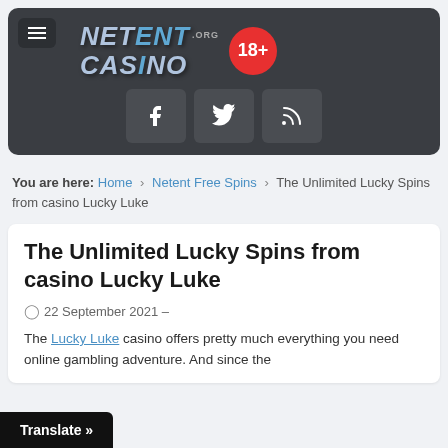[Figure (logo): NetEnt Casino .org logo with 18+ badge and hamburger menu on dark grey background, with Facebook, Twitter, RSS social icons below]
You are here: Home > Netent Free Spins > The Unlimited Lucky Spins from casino Lucky Luke
The Unlimited Lucky Spins from casino Lucky Luke
22 September 2021 –
The Lucky Luke casino offers pretty much everything you need online gambling adventure. And since the
Translate »